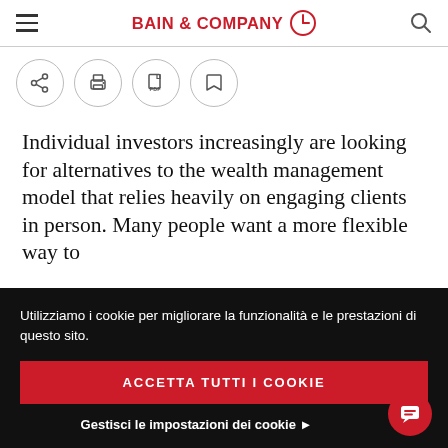BAIN & COMPANY
[Figure (screenshot): Toolbar with share, print, PDF, and bookmark icon buttons in circular outlines]
Individual investors increasingly are looking for alternatives to the wealth management model that relies heavily on engaging clients in person. Many people want a more flexible way to
Utilizziamo i cookie per migliorare la funzionalità e le prestazioni di questo sito.
ACCETTA TUTTI I COOKIE
Gestisci le impostazioni dei cookie ▶